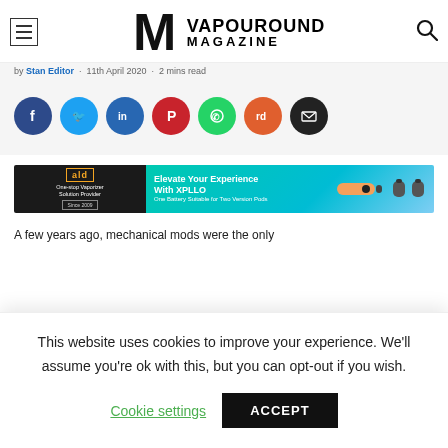Vapouround Magazine
by Stan Editor · 11th April 2020 · 2 mins read
[Figure (infographic): Social share icons: Facebook, Twitter, LinkedIn, Pinterest, WhatsApp, Reddit, Email]
[Figure (infographic): ALD One-stop Vaporizer Solution Provider Since 2009 advertisement banner with XPLLO device]
A few years ago, mechanical mods were the only
This website uses cookies to improve your experience. We'll assume you're ok with this, but you can opt-out if you wish.
Cookie settings   ACCEPT